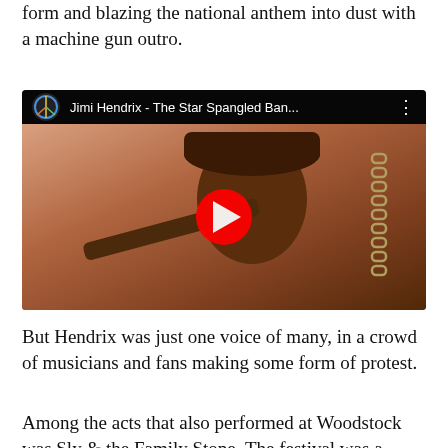form and blazing the national anthem into dust with a machine gun outro.
[Figure (screenshot): YouTube video embed showing Jimi Hendrix - The Star Spangled Ban... with a thumbnail of Jimi Hendrix playing guitar, with a red YouTube play button overlay.]
But Hendrix was just one voice of many, in a crowd of musicians and fans making some form of protest.
Among the acts that also performed at Woodstock was Sly & the Family Stone. The festival was a stepping-stone for